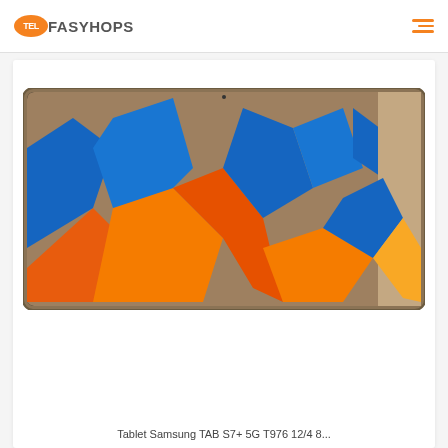TELFASYHOPS
[Figure (photo): Samsung Galaxy Tab S7+ 5G tablet shown with colorful abstract wallpaper featuring blue, orange, and brown leaf-like shapes on a bronze/gold colored device]
Tablet Samsung TAB S7+ 5G T976 12/4 8...